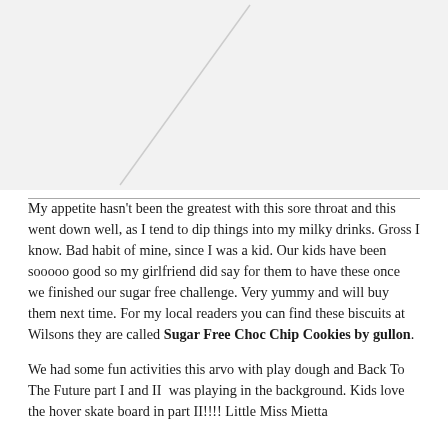[Figure (photo): Photo placeholder with diagonal line across white/light grey rectangle, indicating a missing or placeholder image]
My appetite hasn't been the greatest with this sore throat and this went down well, as I tend to dip things into my milky drinks. Gross I know. Bad habit of mine, since I was a kid. Our kids have been sooooo good so my girlfriend did say for them to have these once we finished our sugar free challenge. Very yummy and will buy them next time. For my local readers you can find these biscuits at Wilsons they are called Sugar Free Choc Chip Cookies by gullon.
We had some fun activities this arvo with play dough and Back To The Future part I and II  was playing in the background. Kids love the hover skate board in part II!!! Little Miss Mietta